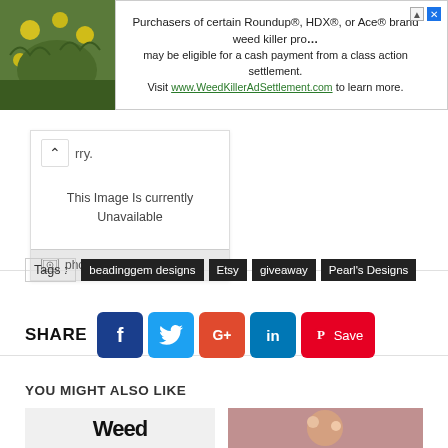[Figure (screenshot): Advertisement banner for Roundup/HDX/Ace weed killer class action settlement with plant photo on left]
[Figure (screenshot): Photobucket image unavailable placeholder with arrow button and 'sorry' text]
Tags : beadinggem designs  Etsy  giveaway  Pearl's Designs
SHARE
[Figure (infographic): Social share buttons: Facebook, Twitter, Google+, LinkedIn, Pinterest Save]
YOU MIGHT ALSO LIKE
[Figure (photo): Bottom thumbnail images partially visible]